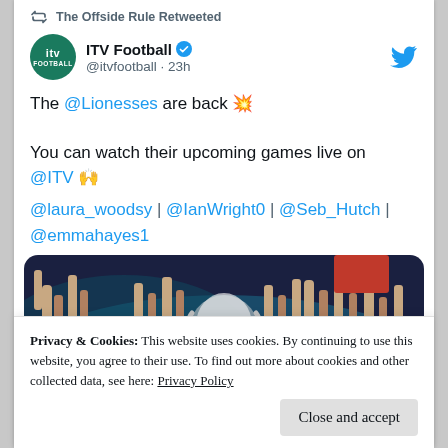The Offside Rule Retweeted
ITV Football @itvfootball · 23h
The @Lionesses are back 💥

You can watch their upcoming games live on @ITV 🙌

@laura_woodsy | @IanWright0 | @Seb_Hutch | @emmahayes1
[Figure (photo): Crowd celebrating with raised hands, trophy visible, dark blue and teal background with a red element]
Privacy & Cookies: This website uses cookies. By continuing to use this website, you agree to their use. To find out more about cookies and other collected data, see here: Privacy Policy
Close and accept